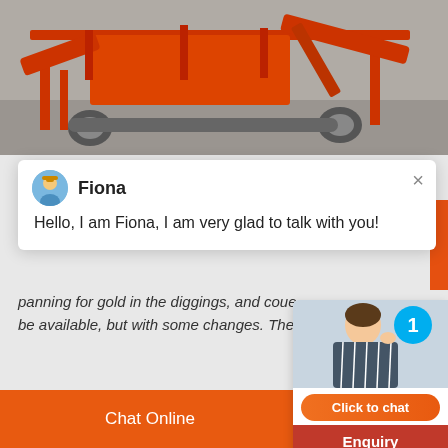[Figure (photo): Orange industrial mining/crushing machine photographed outdoors on a gravel/rock surface. Heavy equipment with conveyor belts and framework visible.]
Hello, I am Fiona, I am very glad to talk with you!
panning for gold in the diggings, and coue be available, but with some changes. The s
[Figure (photo): Chat widget showing a person wearing a striped shirt with a blue notification badge showing '1', and a Click to chat button and Enquiry button below.]
Chat Online   cywaitml @gmail.com